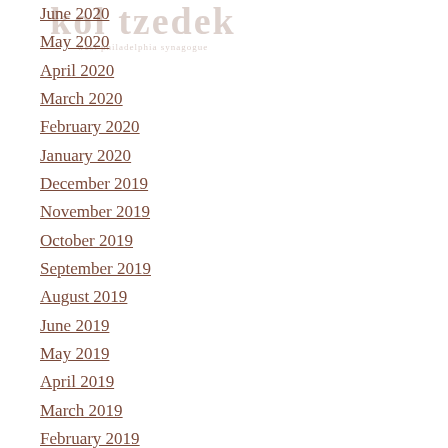[Figure (logo): Kol Tzedek west philadelphia synagogue logo, partially visible, watermark-style]
June 2020
May 2020
April 2020
March 2020
February 2020
January 2020
December 2019
November 2019
October 2019
September 2019
August 2019
June 2019
May 2019
April 2019
March 2019
February 2019
January 2019
December 2018
November 2018